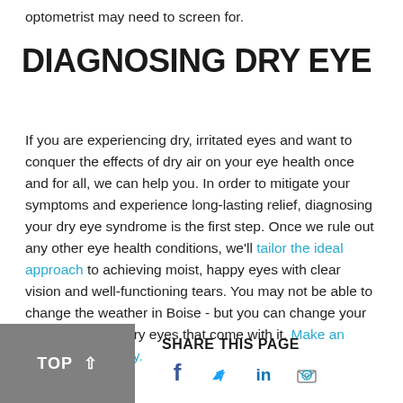optometrist may need to screen for.
DIAGNOSING DRY EYE
If you are experiencing dry, irritated eyes and want to conquer the effects of dry air on your eye health once and for all, we can help you. In order to mitigate your symptoms and experience long-lasting relief, diagnosing your dry eye syndrome is the first step. Once we rule out any other eye health conditions, we'll tailor the ideal approach to achieving moist, happy eyes with clear vision and well-functioning tears. You may not be able to change the weather in Boise - but you can change your approach to the dry eyes that come with it. Make an appointment today.
TOP  SHARE THIS PAGE